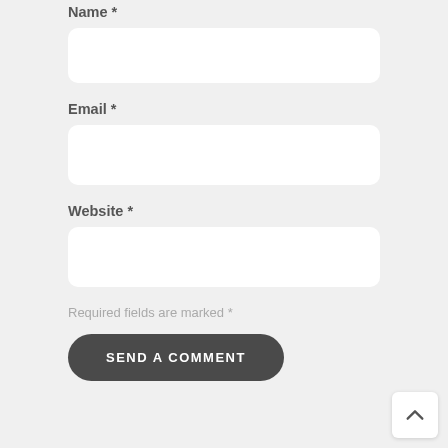Name *
[Figure (other): Empty text input field for Name]
Email *
[Figure (other): Empty text input field for Email]
Website *
[Figure (other): Empty text input field for Website]
Required fields are marked *
SEND A COMMENT